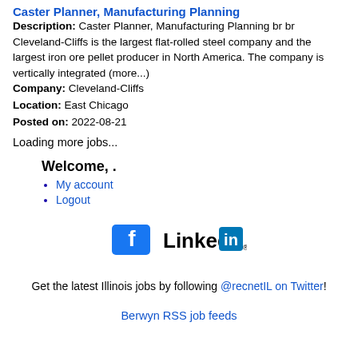Caster Planner, Manufacturing Planning
Description: Caster Planner, Manufacturing Planning br br Cleveland-Cliffs is the largest flat-rolled steel company and the largest iron ore pellet producer in North America. The company is vertically integrated (more...)
Company: Cleveland-Cliffs
Location: East Chicago
Posted on: 2022-08-21
Loading more jobs...
Welcome, .
My account
Logout
[Figure (logo): Facebook and LinkedIn social media icons]
Get the latest Illinois jobs by following @recnetIL on Twitter!
Berwyn RSS job feeds